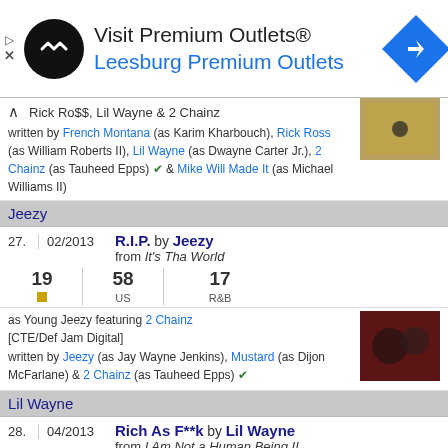[Figure (other): Advertisement banner for Premium Outlets with logo, text, and navigation icon]
written by French Montana (as Karim Kharbouch), Rick Ross (as William Roberts II), Lil Wayne (as Dwayne Carter Jr.), 2 Chainz (as Tauheed Epps) ✓ & Mike Will Made It (as Michael Williams II)
Jeezy
| # | Date | Song/Artist | Chart |
| --- | --- | --- | --- |
| 27. | 02/2013 | R.I.P. by Jeezy from It's Tha World | 19 / 58 US / 17 R&B |
as Young Jeezy featuring 2 Chainz [CTE/Def Jam Digital] written by Jeezy (as Jay Wayne Jenkins), Mustard (as Dijon McFarlane) & 2 Chainz (as Tauheed Epps) ✓
Lil Wayne
| # | Date | Song/Artist | Chart |
| --- | --- | --- | --- |
| 28. | 04/2013 | Rich As F**k by Lil Wayne from I Am Not a Human Being II | 30 / 38 US / 11 R&B |
featuring 2 Chainz